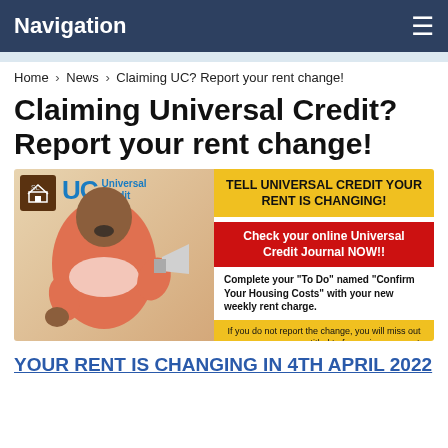Navigation
Home > News > Claiming UC? Report your rent change!
Claiming Universal Credit? Report your rent change!
[Figure (infographic): Infographic showing a man with a megaphone alongside Universal Credit branding and text boxes: 'TELL UNIVERSAL CREDIT YOUR RENT IS CHANGING!', 'Check your online Universal Credit Journal NOW!!', 'Complete your "To Do" named "Confirm Your Housing Costs" with your new weekly rent charge.', 'If you do not report the change, you will miss out on money you are entitled to for paying your rent. You will have to pay the shortfall yourself.']
YOUR RENT IS CHANGING IN 4th APRIL 2022